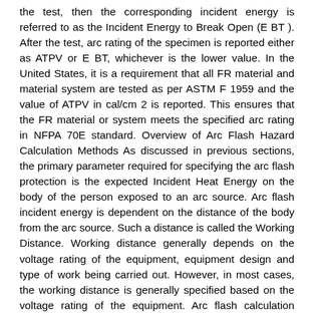the test, then the corresponding incident energy is referred to as the Incident Energy to Break Open (E BT ). After the test, arc rating of the specimen is reported either as ATPV or E BT, whichever is the lower value. In the United States, it is a requirement that all FR material and material system are tested as per ASTM F 1959 and the value of ATPV in cal/cm 2 is reported. This ensures that the FR material or system meets the specified arc rating in NFPA 70E standard. Overview of Arc Flash Hazard Calculation Methods As discussed in previous sections, the primary parameter required for specifying the arc flash protection is the expected Incident Heat Energy on the body of the person exposed to an arc source. Arc flash incident energy is dependent on the distance of the body from the arc source. Such a distance is called the Working Distance. Working distance generally depends on the voltage rating of the equipment, equipment design and type of work being carried out. However, in most cases, the working distance is generally specified based on the voltage rating of the equipment. Arc flash calculation methods provides equations for the calculation of incident heat energy at a specified working distance. Conversely, the same equations can used to determine the distance